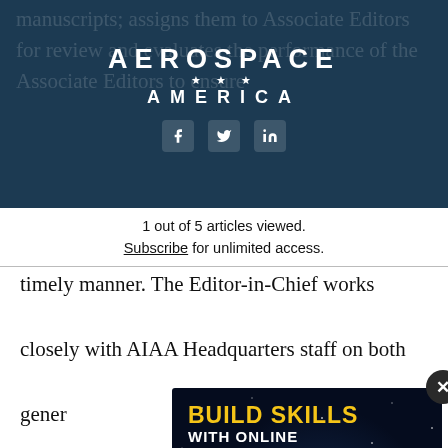AEROSPACE AMERICA
manuscripts; assigns them to Associate Editors for review and evaluates the performance of the Associate Editors to ensure timely manner. The Editor-in-Chief works closely with AIAA Headquarters staff on both general and specific issues records required. AIAA appropriate manuscript review manu
1 out of 5 articles viewed.
Subscribe for unlimited access.
[Figure (screenshot): AIAA advertisement: BUILD SKILLS WITH ONLINE COURSES - BROWSE CATALOG, with space background and ISS image]